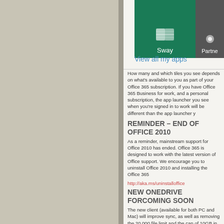[Figure (screenshot): App tiles showing Sway (green tile) and Partner (gray tile) Microsoft Office 365 app launcher tiles]
View all my apps
How many and which tiles you see depends on what's available to you as part of your Office 365 subscription. If you have Office 365 Business for work, and a personal subscription, the app launcher you see when you're signed in to work will be different than the app launcher y
REMINDER – END OF SUPPORT FOR OFFICE 2010
As a reminder, mainstream support for Office 2010 has ended. Office 365 is designed to work with the latest version of Office support. We encourage you to uninstall Office 2010 and installing the Office 36
http://aka.ms/uninstalloffice
NEW ONEDRIVE FOR BUSINESS CLIENT COMING SOON
The new client (available for both PC and Mac) will improve sync, as well as removing the 20,000 file limit and the cap of 10GB in size.
SIMPLIFIED ONEDRIVE
Microsoft has completely refreshed and simplified the best practices from the OneDrive.com